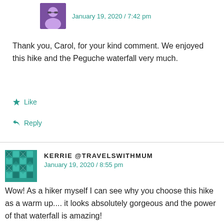January 19, 2020 / 7:42 pm
Thank you, Carol, for your kind comment. We enjoyed this hike and the Peguche waterfall very much.
Like
Reply
KERRIE @TRAVELSWITHMUM
January 19, 2020 / 8:55 pm
Wow! As a hiker myself I can see why you choose this hike as a warm up.... it looks absolutely gorgeous and the power of that waterfall is amazing!
Like
Reply